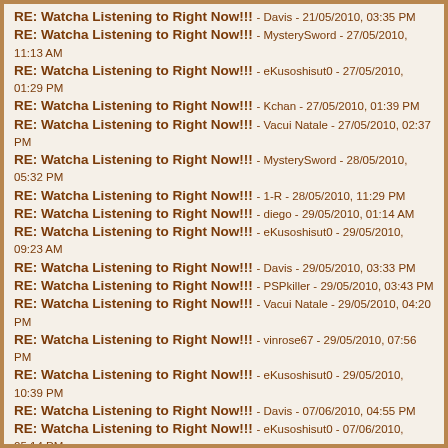RE: Watcha Listening to Right Now!!! - Davis - 21/05/2010, 03:35 PM
RE: Watcha Listening to Right Now!!! - MysterySword - 27/05/2010, 11:13 AM
RE: Watcha Listening to Right Now!!! - eKusoshisut0 - 27/05/2010, 01:29 PM
RE: Watcha Listening to Right Now!!! - Kchan - 27/05/2010, 01:39 PM
RE: Watcha Listening to Right Now!!! - Vacui Natale - 27/05/2010, 02:37 PM
RE: Watcha Listening to Right Now!!! - MysterySword - 28/05/2010, 05:32 PM
RE: Watcha Listening to Right Now!!! - 1-R - 28/05/2010, 11:29 PM
RE: Watcha Listening to Right Now!!! - diego - 29/05/2010, 01:14 AM
RE: Watcha Listening to Right Now!!! - eKusoshisut0 - 29/05/2010, 09:23 AM
RE: Watcha Listening to Right Now!!! - Davis - 29/05/2010, 03:33 PM
RE: Watcha Listening to Right Now!!! - PSPkiller - 29/05/2010, 03:43 PM
RE: Watcha Listening to Right Now!!! - Vacui Natale - 29/05/2010, 04:20 PM
RE: Watcha Listening to Right Now!!! - vinrose67 - 29/05/2010, 07:56 PM
RE: Watcha Listening to Right Now!!! - eKusoshisut0 - 29/05/2010, 10:39 PM
RE: Watcha Listening to Right Now!!! - Davis - 07/06/2010, 04:55 PM
RE: Watcha Listening to Right Now!!! - eKusoshisut0 - 07/06/2010, 05:14 PM